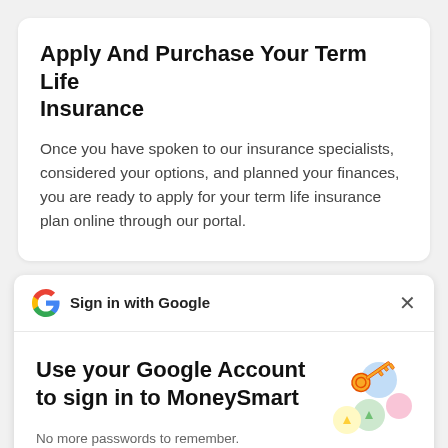Apply And Purchase Your Term Life Insurance
Once you have spoken to our insurance specialists, considered your options, and planned your finances, you are ready to apply for your term life insurance plan online through our portal.
Sign in with Google
Use your Google Account to sign in to MoneySmart
No more passwords to remember.
Signing in is fast, simple and secure.
[Figure (illustration): Google sign-in key illustration with colorful circles and a golden key]
Continue